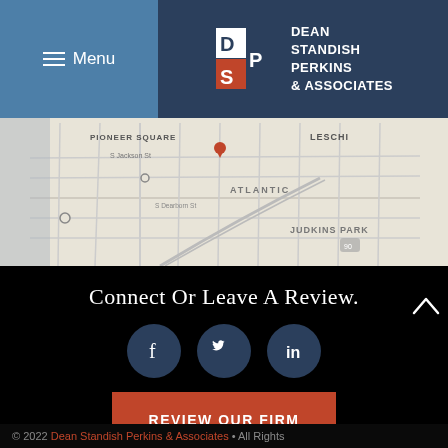[Figure (logo): Dean Standish Perkins & Associates law firm logo with DSP letters and firm name]
[Figure (map): Street map of Seattle area showing Pioneer Square, Atlantic, Leschi, Judkins Park neighborhoods]
Connect Or Leave A Review.
[Figure (infographic): Social media icons: Facebook, Twitter, LinkedIn as dark blue circles]
REVIEW OUR FIRM
© 2022 Dean Standish Perkins & Associates • All Rights